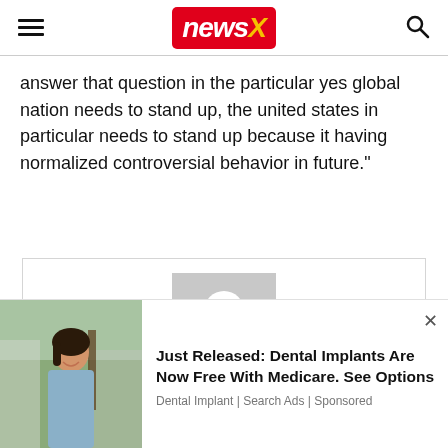newsX
answer that question in the particular yes global nation needs to stand up, the united states in particular needs to stand up because it having normalized controversial behavior in future."
[Figure (illustration): Generic user/author avatar placeholder with grey background and white person silhouette]
[Figure (photo): Advertisement photo of a smiling woman outdoors]
Just Released: Dental Implants Are Now Free With Medicare. See Options
Dental Implant | Search Ads | Sponsored